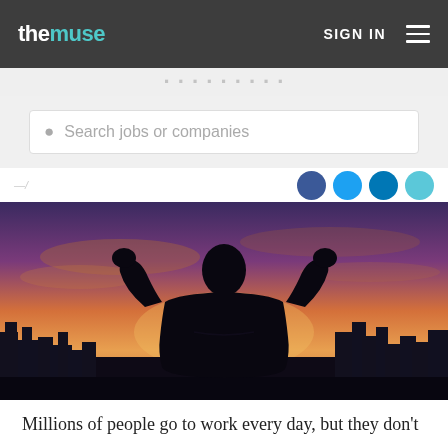themuse  SIGN IN ☰
[Figure (screenshot): Search bar with placeholder text 'Search jobs or companies']
By [author name] · [date]
[Figure (photo): Silhouette of a person flexing both arms raised in triumph against a dramatic sunset skyline cityscape background]
Millions of people go to work every day, but they don't